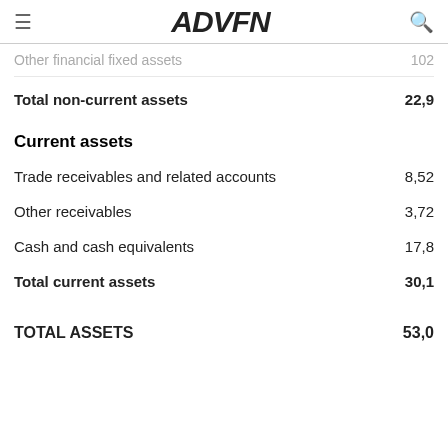ADVFN
Other financial fixed assets   102
Total non-current assets   22,9
Current assets
Trade receivables and related accounts   8,52
Other receivables   3,72
Cash and cash equivalents   17,8
Total current assets   30,1
TOTAL ASSETS   53,0